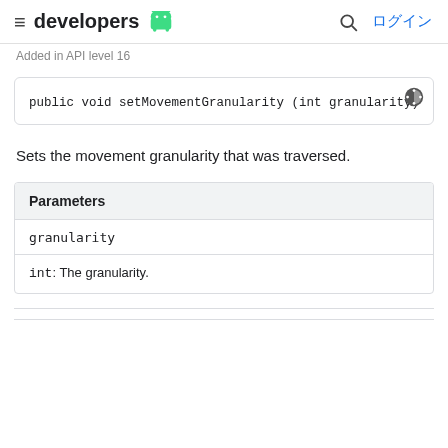developers [Android logo] ログイン
Added in API level 16
public void setMovementGranularity (int granularity)
Sets the movement granularity that was traversed.
| Parameters |
| --- |
| granularity |
| int: The granularity. |